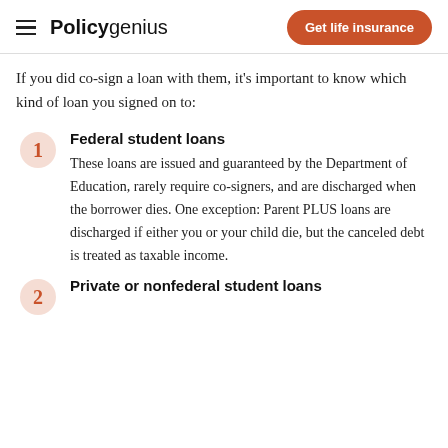Policy genius | Get life insurance
If you did co-sign a loan with them, it's important to know which kind of loan you signed on to:
1 Federal student loans
These loans are issued and guaranteed by the Department of Education, rarely require co-signers, and are discharged when the borrower dies. One exception: Parent PLUS loans are discharged if either you or your child die, but the canceled debt is treated as taxable income.
2 Private or nonfederal student loans